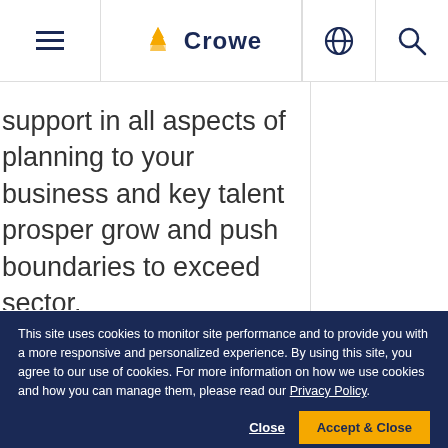Crowe
support in all aspects of planning to your business and key talent prosper grow and push boundaries to exceed sector.
This site uses cookies to monitor site performance and to provide you with a more responsive and personalized experience. By using this site, you agree to our use of cookies. For more information on how we use cookies and how you can manage them, please read our Privacy Policy.